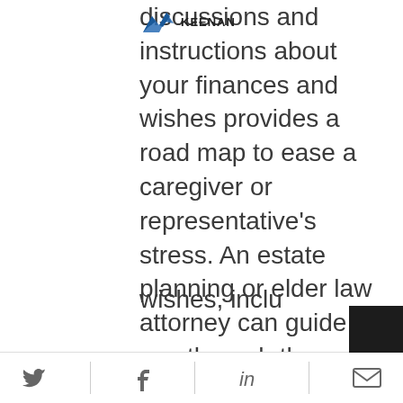[Figure (logo): Keenan law firm logo with blue bird/wing icon and KEENAN text in bold]
discussions and instructions about your finances and wishes provides a road map to ease a caregiver or representative's stress. An estate planning or elder law attorney can guide you through the processes of identifying the right people for the right roles and create legal documents that reflect your decisions. Your care will go more smoothly and as you wish with representation properly in place, acting on your behalf during a medical crisis.
We would be happy to work with you to create an estate plan that follows your wishes, inclu...
Twitter | Facebook | LinkedIn | Email